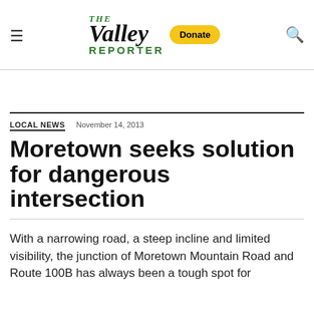The Valley Reporter — Donate
LOCAL NEWS  November 14, 2013
Moretown seeks solution for dangerous intersection
With a narrowing road, a steep incline and limited visibility, the junction of Moretown Mountain Road and Route 100B has always been a tough spot for